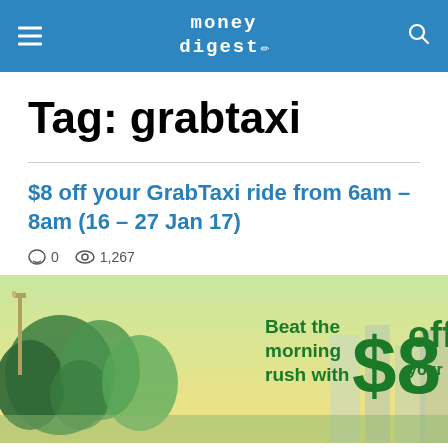money digest
Tag: grabtaxi
$8 off your GrabTaxi ride from 6am – 8am (16 – 27 Jan 17)
0 comments  1,267 views
[Figure (photo): Promotional banner for GrabTaxi showing city trees, skyline, and text: Beat the morning rush with $8 off your ride]